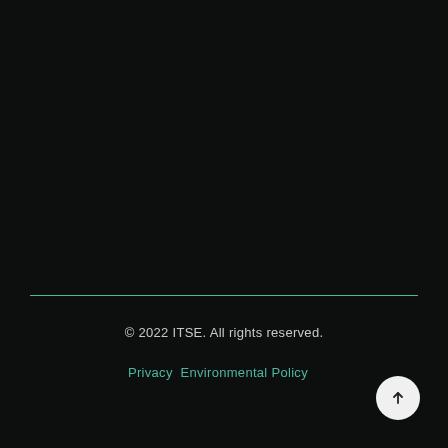© 2022 ITSE. All rights reserved.
Privacy Environmental Policy